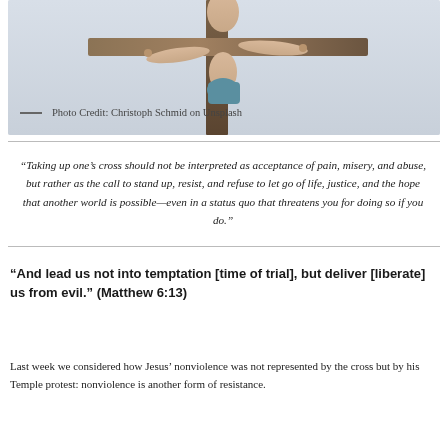[Figure (photo): A crucifix statue against a light sky background, showing Jesus on the cross. Photo is cropped showing the upper portion of the cross and figure.]
— Photo Credit: Christoph Schmid on Unsplash
“Taking up one’s cross should not be interpreted as acceptance of pain, misery, and abuse, but rather as the call to stand up, resist, and refuse to let go of life, justice, and the hope that another world is possible—even in a status quo that threatens you for doing so if you do.”
“And lead us not into temptation [time of trial], but deliver [liberate] us from evil.” (Matthew 6:13)
Last week we considered how Jesus’ nonviolence was not represented by the cross but by his Temple protest: nonviolence is another form of resistance.